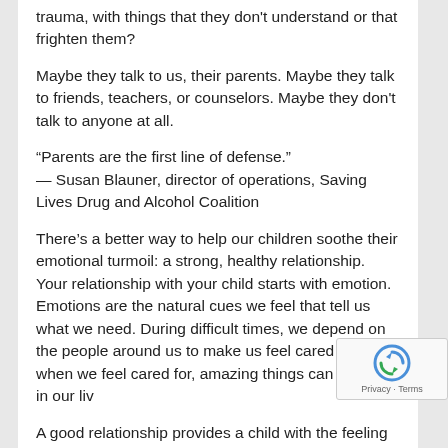trauma, with things that they don't understand or that frighten them?
Maybe they talk to us, their parents. Maybe they talk to friends, teachers, or counselors. Maybe they don't talk to anyone at all.
“Parents are the first line of defense.”
— Susan Blauner, director of operations, Saving Lives Drug and Alcohol Coalition
There’s a better way to help our children soothe their emotional turmoil: a strong, healthy relationship. Your relationship with your child starts with emotion. Emotions are the natural cues we feel that tell us what we need. During difficult times, we depend on the people around us to make us feel cared for. And when we feel cared for, amazing things can happen in our liv
A good relationship provides a child with the feeling of loving — and being loved by — another